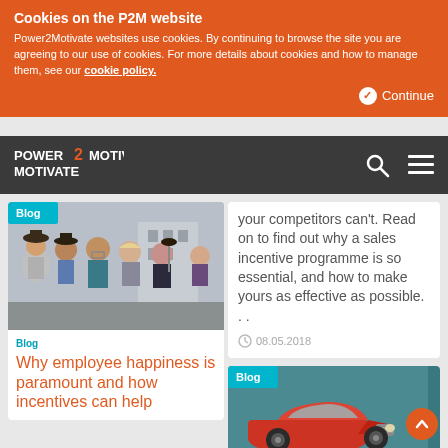Cookies on the P2M website
Power2Motivate websites use cookies. By continuing to browse the site you are agreeing to our use of cookies. For more details about cookies and how to manage them, see our cookie policy.
Continue
[Figure (logo): Power2Motivate logo with orange number 2]
your competitors can't. Read on to find out why a sales incentive programme is so essential, and how to make yours as effective as possible...
08.05.2018
[Figure (photo): Group of young people holding up fun photo props, wearing hats and accessories, standing outdoors]
Blog
Why employee happiness is paramount and how incentives can help
[Figure (photo): Vintage classic red car, partial view from front, teal/cyan toned background]